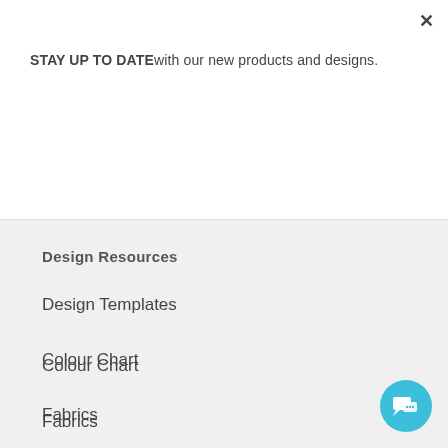STAY UP TO DATEwith our new products and designs.
Subscribe
Design Resources
Design Templates
Colour Chart
Fabrics
Design FAQ's
Newsletter Signup
[Figure (illustration): Teal circular chat bubble button icon in bottom right corner]